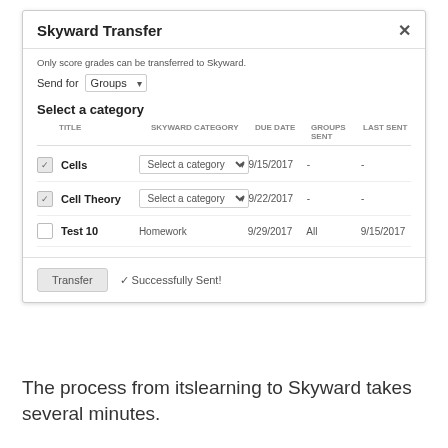Skyward Transfer
Only score grades can be transferred to Skyward.
Send for Groups
Select a category
| TITLE | SKYWARD CATEGORY | DUE DATE | GROUPS SENT | LAST SENT |
| --- | --- | --- | --- | --- |
| Cells | Select a category | 9/15/2017 | - | - |
| Cell Theory | Select a category | 9/22/2017 | - | - |
| Test 10 | Homework | 9/29/2017 | All | 9/15/2017 |
Transfer   ✓ Successfully Sent!
The process from itslearning to Skyward takes several minutes.